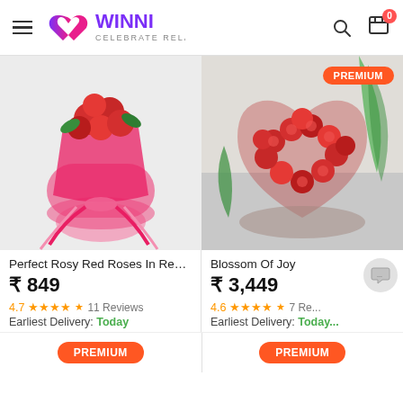Winni - Celebrate Relations
[Figure (photo): Red rose bouquet wrapped in red tissue paper with ribbon]
Perfect Rosy Red Roses In Red Pac...
₹ 849
4.7 ★★★★½ 11 Reviews
Earliest Delivery: Today
[Figure (photo): Heart-shaped arrangement of red roses with PREMIUM badge]
Blossom Of Joy
₹ 3,449
4.6 ★★★★½ 7 Re...
Earliest Delivery: Today...
PREMIUM
PREMIUM